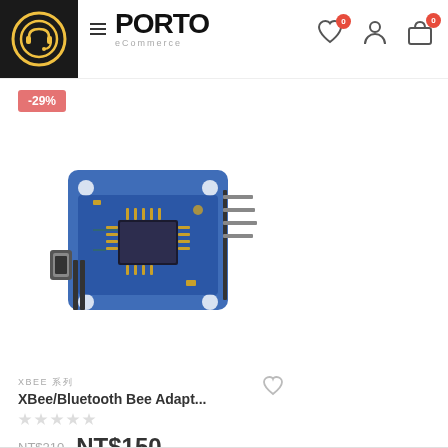[Figure (logo): Porto eCommerce logo with hamburger menu icon]
[Figure (illustration): Support/headset icon circle on dark background top-left]
NT$340 (partial, cut off) NT$170 NT$150
-29%
[Figure (photo): XBee/Bluetooth Bee Adapter blue circuit board with USB port and pin headers]
XBEE 系列
XBee/Bluetooth Bee Adapt...
[Figure (illustration): 5 empty star rating icons]
NT$210  NT$150